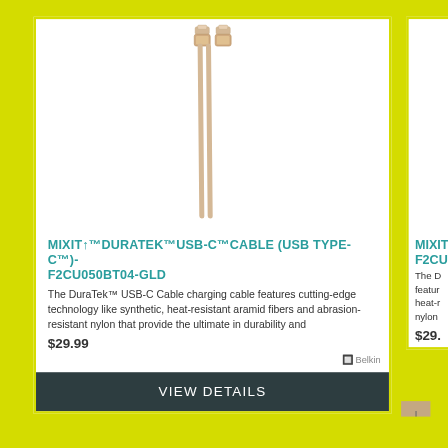[Figure (photo): Two gold/champagne colored USB-C cable connectors shown vertically, with braided cable extending downward, photographed against white background]
MIXIT↑™DURATEK™USB-C™CABLE (USB TYPE-C™)- F2CU050BT04-GLD
The DuraTek™ USB-C Cable charging cable features cutting-edge technology like synthetic, heat-resistant aramid fibers and abrasion-resistant nylon that provide the ultimate in durability and
$29.99
[Figure (logo): Belkin logo]
VIEW DETAILS
MIXIT↑ F2CU0
The D featur heat-r nylon
$29.